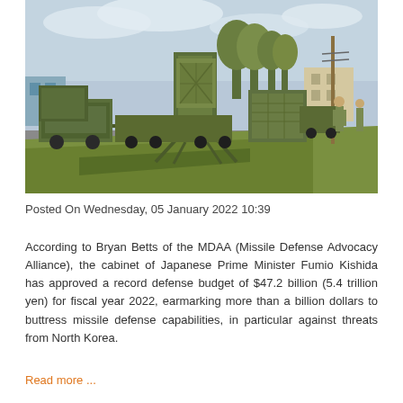[Figure (photo): Military missile defense equipment on flatbed trucks parked along a road beside a grass embankment, with soldiers standing nearby and trees and buildings in the background.]
Posted On Wednesday, 05 January 2022 10:39
According to Bryan Betts of the MDAA (Missile Defense Advocacy Alliance), the cabinet of Japanese Prime Minister Fumio Kishida has approved a record defense budget of $47.2 billion (5.4 trillion yen) for fiscal year 2022, earmarking more than a billion dollars to buttress missile defense capabilities, in particular against threats from North Korea.
Read more ...